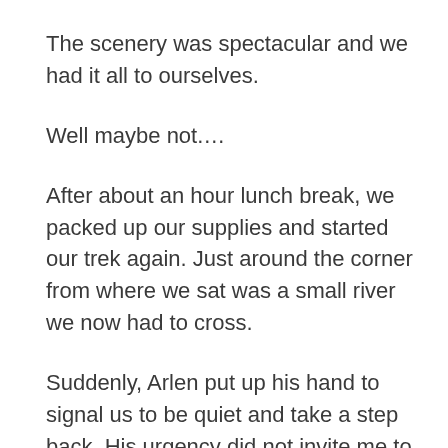The scenery was spectacular and we had it all to ourselves.
Well maybe not….
After about an hour lunch break, we packed up our supplies and started our trek again. Just around the corner from where we sat was a small river we now had to cross.
Suddenly, Arlen put up his hand to signal us to be quiet and take a step back. His urgency did not invite me to question, only to do.
He ran forward, bent down and put his hand over a spot on the sandy banks.